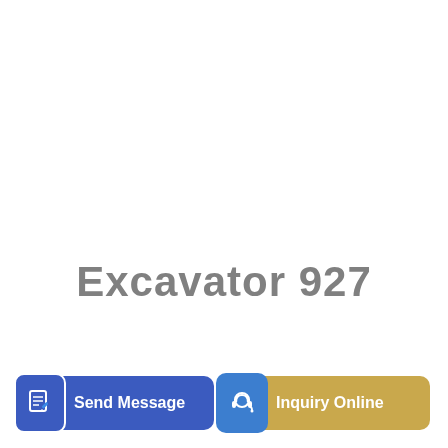Excavator 927
[Figure (other): Send Message button with document/edit icon on blue background]
[Figure (other): Inquiry Online button with headset/support icon on blue square, gold background]